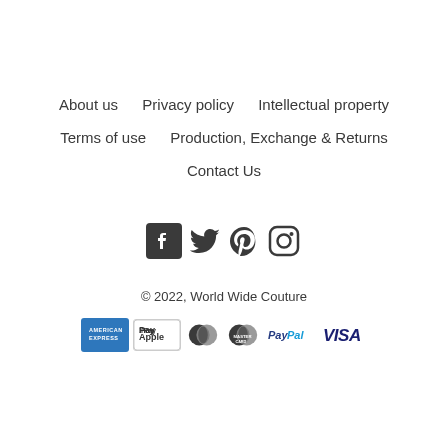About us
Privacy policy
Intellectual property
Terms of use
Production, Exchange & Returns
Contact Us
[Figure (other): Social media icons: Facebook, Twitter, Pinterest, Instagram]
© 2022, World Wide Couture
[Figure (other): Payment method icons: American Express, Apple Pay, Maestro, MasterCard, PayPal, VISA]